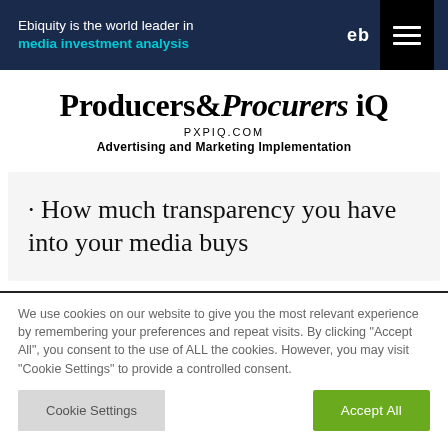Ebiquity is the world leader in media investment analysis
Producers & Procurers iQ
PXPIQ.COM
Advertising and Marketing Implementation
· How much transparency you have into your media buys
We use cookies on our website to give you the most relevant experience by remembering your preferences and repeat visits. By clicking "Accept All", you consent to the use of ALL the cookies. However, you may visit "Cookie Settings" to provide a controlled consent.